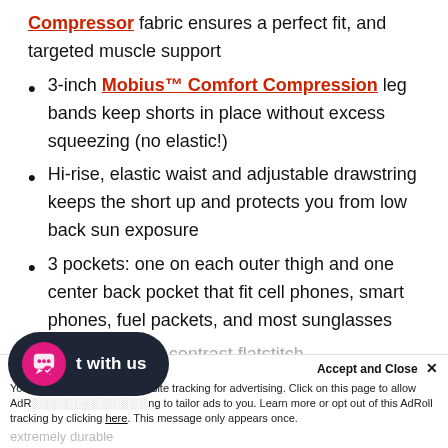Compressor fabric ensures a perfect fit, and targeted muscle support
3-inch Mobius™ Comfort Compression leg bands keep shorts in place without excess squeezing (no elastic!)
Hi-rise, elastic waist and adjustable drawstring keeps the short up and protects you from low back sun exposure
3 pockets: one on each outer thigh and one center back pocket that fit cell phones, smart phones, fuel packets, and most sunglasses
…seamlines and contrast flatstitch … extremely durable
Accept and Close ✕ You … allow cross-site tracking for advertising. Click on this page to allow AdRoll … to tailor ads to you. Learn more or opt out of this AdRoll tracking by clicking here. This message only appears once.